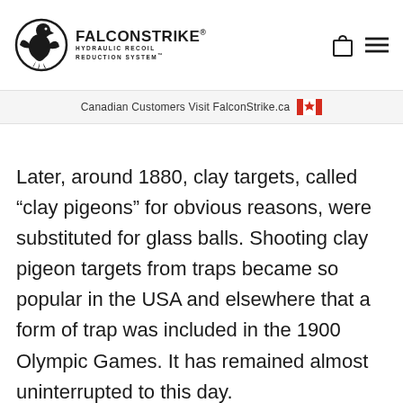[Figure (logo): FalconStrike Hydraulic Recoil Reduction System logo with eagle head icon]
Canadian Customers Visit FalconStrike.ca 🍁
Later, around 1880, clay targets, called “clay pigeons” for obvious reasons, were substituted for glass balls. Shooting clay pigeon targets from traps became so popular in the USA and elsewhere that a form of trap was included in the 1900 Olympic Games. It has remained almost uninterrupted to this day.